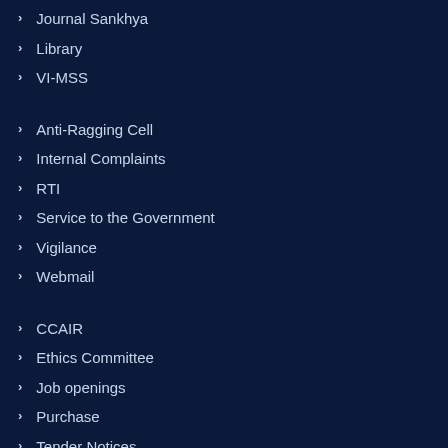Journal Sankhya
Library
VI-MSS
Anti-Ragging Cell
Internal Complaints
RTI
Service to the Government
Vigilance
Webmail
CCAIR
Ethics Committee
Job openings
Purchase
Tender Notices
NIRF